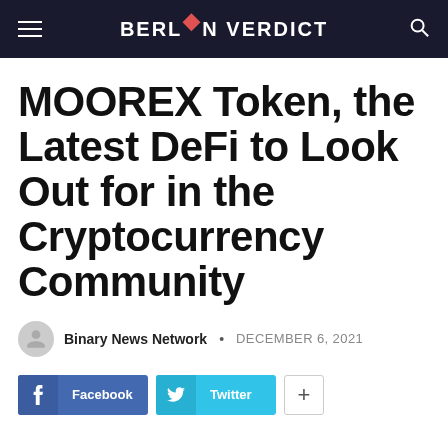BERLIN VERDICT
MOOREX Token, the Latest DeFi to Look Out for in the Cryptocurrency Community
Binary News Network • DECEMBER 6, 2021